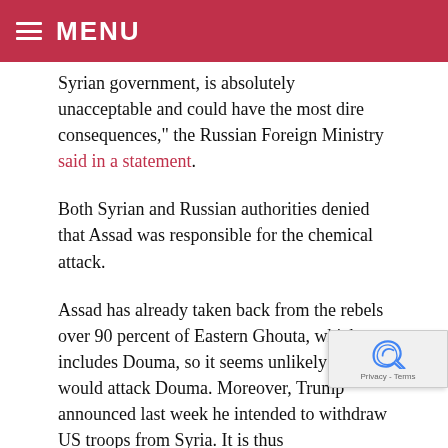MENU
Syrian government, is absolutely unacceptable and could have the most dire consequences," the Russian Foreign Ministry said in a statement.
Both Syrian and Russian authorities denied that Assad was responsible for the chemical attack.
Assad has already taken back from the rebels over 90 percent of Eastern Ghouta, which includes Douma, so it seems unlikely he would attack Douma. Moreover, Trump announced last week he intended to withdraw US troops from Syria. It is thus counterintuitive to conclude Assad would have launched a gas attack in Douma.
On April 6, 2017, Trump bombed Syria after declaring that Assad had used sarin gas at Khan Sheikhoun days earlier. Assad had denied ordering the attack. But